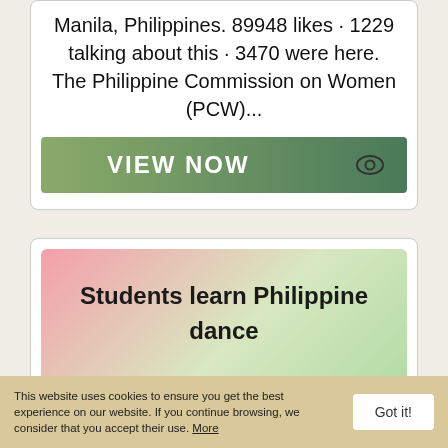Manila, Philippines. 89948 likes · 1229 talking about this · 3470 were here. The Philippine Commission on Women (PCW)...
[Figure (other): Green gradient 'VIEW NOW' button with eye icon]
[Figure (other): Pink-to-green gradient banner with text: Students learn Philippine dance | The Globe]
PERHAM - Mimicking birds escaping from bamboo traps is something a
This website uses cookies to ensure you get the best experience on our website. If you continue browsing, we consider that you accept their use. More